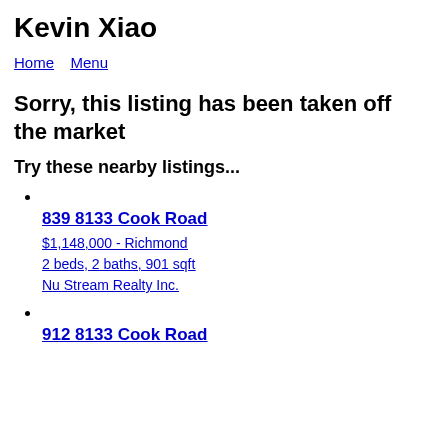Kevin Xiao
Home  Menu
Sorry, this listing has been taken off the market
Try these nearby listings...
839 8133 Cook Road
$1,148,000 - Richmond
2 beds, 2 baths, 901 sqft
Nu Stream Realty Inc.
912 8133 Cook Road